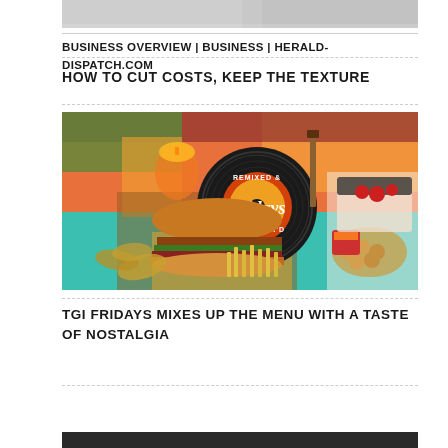[Figure (photo): Partial top image, cropped food/photo at top of page]
BUSINESS OVERVIEW | BUSINESS | HERALD-DISPATCH.COM
HOW TO CUT COSTS, KEEP THE TEXTURE
[Figure (photo): TGI Fridays promotional image showing burgers, fries, appetizers, cocktail drink, and dessert with Fridays 'Remixed & Remastered' logo on a colorful retro background]
TGI FRIDAYS MIXES UP THE MENU WITH A TASTE OF NOSTALGIA